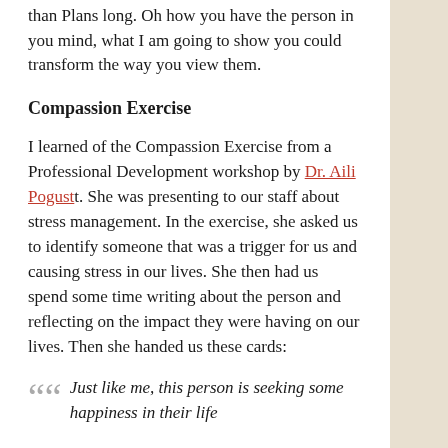than Plans long. Oh how you have the person in you mind, what I am going to show you could transform the way you view them.
Compassion Exercise
I learned of the Compassion Exercise from a Professional Development workshop by Dr. Aili Pogust. She was presenting to our staff about stress management. In the exercise, she asked us to identify someone that was a trigger for us and causing stress in our lives. She then had us spend some time writing about the person and reflecting on the impact they were having on our lives. Then she handed us these cards:
Just like me, this person is seeking some happiness in their life